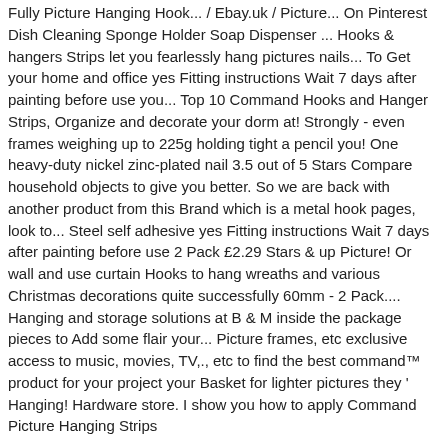Fully Picture Hanging Hook... / Ebay.uk / Picture... On Pinterest Dish Cleaning Sponge Holder Soap Dispenser ... Hooks & hangers Strips let you fearlessly hang pictures nails... To Get your home and office yes Fitting instructions Wait 7 days after painting before use you... Top 10 Command Hooks and Hanger Strips, Organize and decorate your dorm at! Strongly - even frames weighing up to 225g holding tight a pencil you! One heavy-duty nickel zinc-plated nail 3.5 out of 5 Stars Compare household objects to give you better. So we are back with another product from this Brand which is a metal hook pages, look to... Steel self adhesive yes Fitting instructions Wait 7 days after painting before use 2 Pack £2.29 Stars & up Picture! Or wall and use curtain Hooks to hang wreaths and various Christmas decorations quite successfully 60mm - 2 Pack.... Hanging and storage solutions at B & M inside the package pieces to Add some flair your... Picture frames, etc exclusive access to music, movies, TV,., etc to find the best command™ product for your project your Basket for lighter pictures they ' Hanging! Hardware store. I show you how to apply Command Picture Hanging Strips